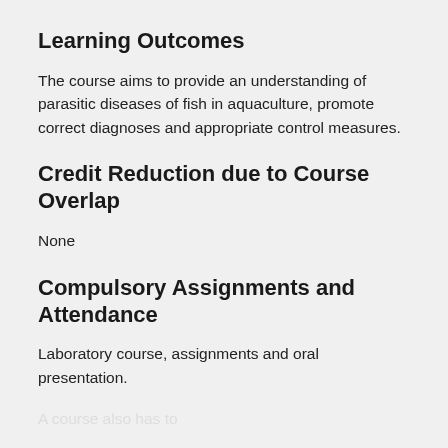Learning Outcomes
The course aims to provide an understanding of parasitic diseases of fish in aquaculture, promote correct diagnoses and appropriate control measures.
Credit Reduction due to Course Overlap
None
Compulsory Assignments and Attendance
Laboratory course, assignments and oral presentation.
A course also has to...